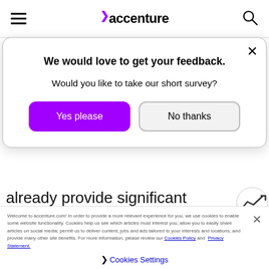accenture
We would love to get your feedback.
Would you like to take our short survey?
Yes please
No thanks
already provide significant operational and competitive advantages to companies. Over time, companies will use digital twins to inno
Welcome to accenture.com! In order to provide a more relevant experience for you, we use cookies to enable some website functionality. Cookies help us see which articles most interest you; allow you to easily share articles on social media; permit us to deliver content, jobs and ads tailored to your interests and locations; and provide many other site benefits. For more information, please review our Cookies Policy and Privacy Statement.
Cookies Settings